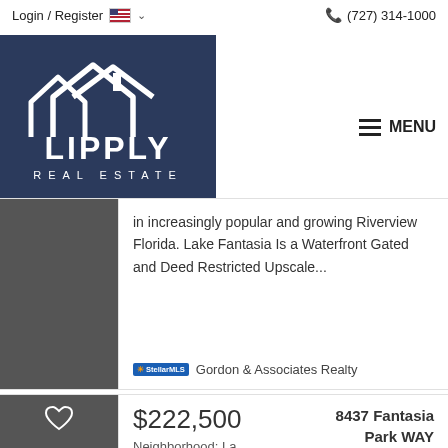Login / Register  (727) 314-1000
[Figure (logo): Lipply Real Estate logo - white house outline with LIPPLY REAL ESTATE text on dark navy background]
MENU
in increasingly popular and growing Riverview Florida. Lake Fantasia Is a Waterfront Gated and Deed Restricted Upscale...
Gordon & Associates Realty
$222,500
Neighborhood: La...
8437 Fantasia Park WAY Riverview, FL 33578
3 Beds  2 Baths  1,296 Sq.Ft.